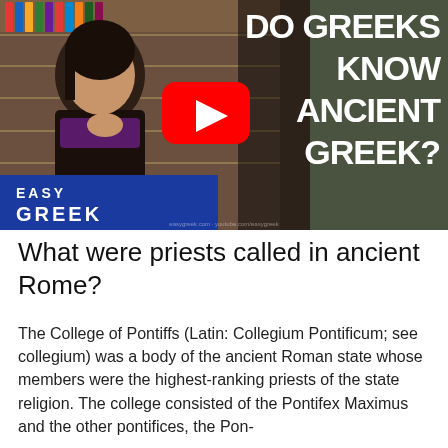[Figure (screenshot): YouTube video thumbnail showing a woman in a store with text 'DO GREEKS KNOW ANCIENT GREEK?' and 'EASY GREEK' branding with a YouTube play button overlay.]
What were priests called in ancient Rome?
The College of Pontiffs (Latin: Collegium Pontificum; see collegium) was a body of the ancient Roman state whose members were the highest-ranking priests of the state religion. The college consisted of the Pontifex Maximus and the other pontifices, the Pon...